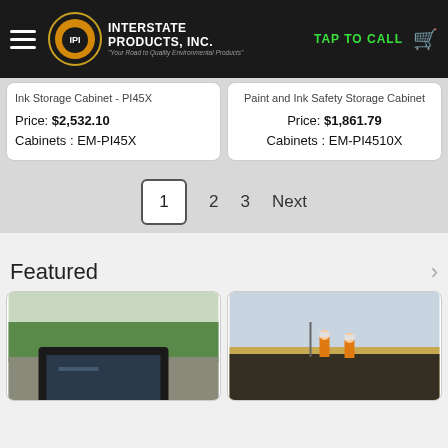Interstate Products, Inc. — TAP TO CALL
Ink Storage Cabinet - PI45X
Price: $2,532.10
Cabinets : EM-PI45X
Paint and Ink Safety Storage Cabinet
Price: $1,861.79
Cabinets : EM-PI4510X
1  2  3  Next
Featured
[Figure (photo): Black containment berm/pool sitting on a paved surface with trees in the background]
[Figure (photo): Workers in orange safety vests laying black geomembrane liner in a field]